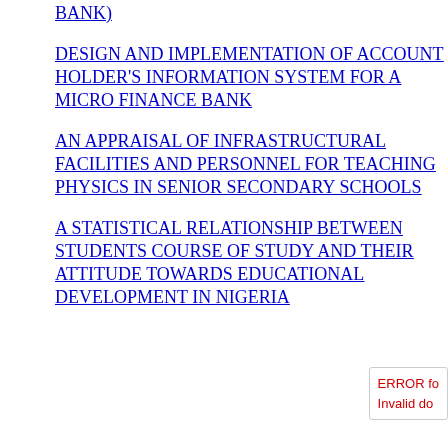DESIGN AND IMPLEMENTATION OF ACCOUNT HOLDER'S INFORMATION SYSTEM FOR A MICRO FINANCE BANK
AN APPRAISAL OF INFRASTRUCTURAL FACILITIES AND PERSONNEL FOR TEACHING PHYSICS IN SENIOR SECONDARY SCHOOLS
A STATISTICAL RELATIONSHIP BETWEEN STUDENTS COURSE OF STUDY AND THEIR ATTITUDE TOWARDS EDUCATIONAL DEVELOPMENT IN NIGERIA